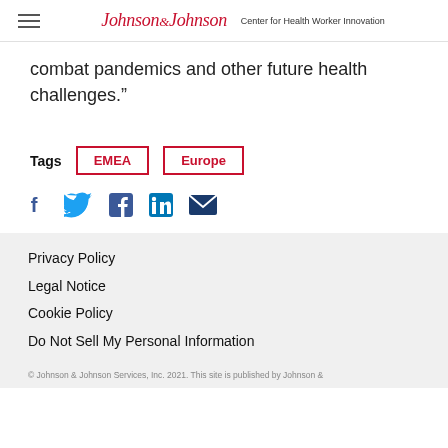Johnson & Johnson — Center for Health Worker Innovation
combat pandemics and other future health challenges.”
Tags  EMEA  Europe
[Figure (other): Social share icons: Facebook, Twitter, LinkedIn, Email]
Privacy Policy
Legal Notice
Cookie Policy
Do Not Sell My Personal Information
© Johnson & Johnson Services, Inc. 2021. This site is published by Johnson &...